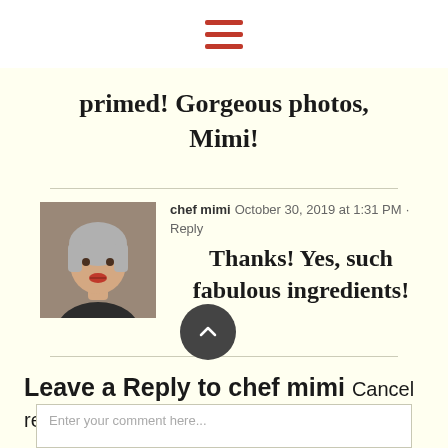[Figure (other): Hamburger menu icon with three red horizontal bars on white background]
primed! Gorgeous photos, Mimi!
chef mimi  October 30, 2019 at 1:31 PM · Reply
[Figure (photo): Avatar photo of chef mimi - woman with short gray hair and red lipstick]
Thanks! Yes, such fabulous ingredients!
Leave a Reply to chef mimi Cancel reply
Enter your comment here...